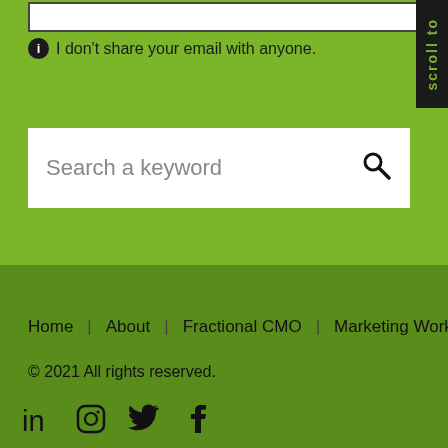I don't share your email with anyone.
Search a keyword
Home   About   Fractional CMO   Marketing Workshops
© 2021 All rights reserved.
[Figure (other): Social media icons: LinkedIn, Instagram, Twitter, Facebook]